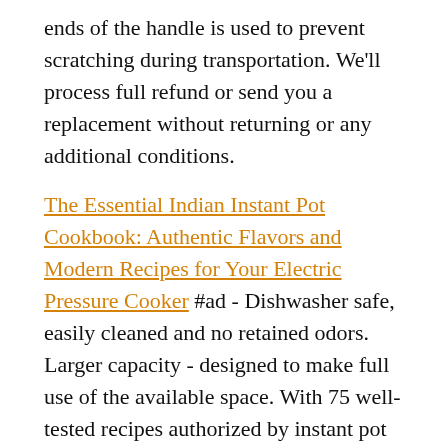ends of the handle is used to prevent scratching during transportation. We'll process full refund or send you a replacement without returning or any additional conditions.
The Essential Indian Instant Pot Cookbook: Authentic Flavors and Modern Recipes for Your Electric Pressure Cooker #ad - Dishwasher safe, easily cleaned and no retained odors. Larger capacity - designed to make full use of the available space. With 75 well-tested recipes authorized by instant pot covering every meal of the day, soups, this is a go-to resource for classic chicken, and vegetarian curries; daals, lamb, and seafood like fennel and saffron spiced mussels; breakfast delights like spicy frittata and ginger almond oatmeal; and sweet treats like rose milk cake and fig and walnut halwa.
More information about Top Spiced P... #ad